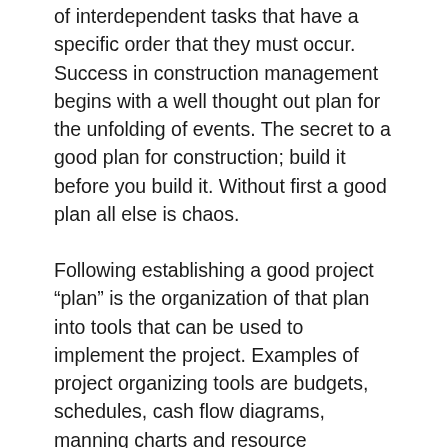of interdependent tasks that have a specific order that they must occur. Success in construction management begins with a well thought out plan for the unfolding of events. The secret to a good plan for construction; build it before you build it. Without first a good plan all else is chaos.
Following establishing a good project “plan” is the organization of that plan into tools that can be used to implement the project. Examples of project organizing tools are budgets, schedules, cash flow diagrams, manning charts and resource schedules. The secret of success here is that they must be realistic. Unrealistic tools tied to an unrealistic game plan is a sure way for construction project failure. Successful construction management always starts with a realistic organized plan.
The organized tools, tied to a realistic plan, are used